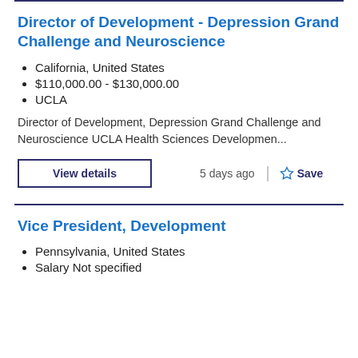Director of Development - Depression Grand Challenge and Neuroscience
California, United States
$110,000.00 - $130,000.00
UCLA
Director of Development, Depression Grand Challenge and Neuroscience UCLA Health Sciences Developmen...
View details
5 days ago
Save
Vice President, Development
Pennsylvania, United States
Salary Not specified